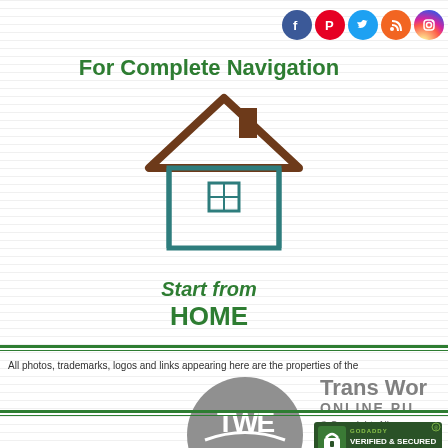[Figure (illustration): Social media icons row: Facebook (blue), Pinterest (red), Twitter (blue), RSS (orange), Instagram (gradient)]
For Complete Navigation
[Figure (illustration): House/home icon outline with brown roof and teal walls]
Start from HOME
All photos, trademarks, logos and links appearing here are the properties of the
[Figure (logo): Trans World TWE circular gray logo with text Trans World ONLINE PU © Copyright. All]
[Figure (logo): GoDaddy Verified & Secured badge]